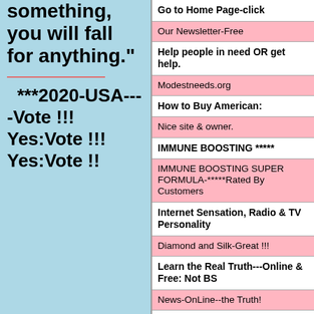stand for something, you will fall for anything."
***2020-USA----Vote !!! Yes:Vote !!! Yes:Vote !!
Go to Home Page-click
Our Newsletter-Free
Help people in need OR get help.
Modestneeds.org
How to Buy American:
Nice site & owner.
IMMUNE BOOSTING *****
IMMUNE BOOSTING SUPER FORMULA-*****Rated By Customers
Internet Sensation, Radio & TV Personality
Diamond and Silk-Great !!!
Learn the Real Truth---Online & Free: Not BS
News-OnLine--the Truth!
Learn-Real-News-Daily
x22 Report=Rare news;
Mainstream Media Silent
About-Child Sex Rings-Lots !!!